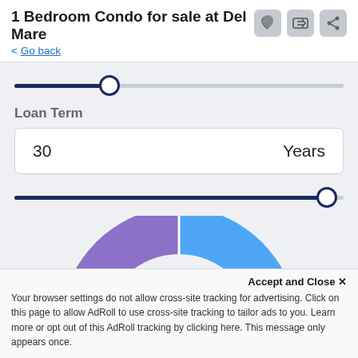1 Bedroom Condo for sale at Del Mare
< Go back
[Figure (other): Slider control (partially filled, thumb at ~29% from left)]
Loan Term
| 30 | Years |
[Figure (other): Slider control (fully filled to right end, thumb at right)]
[Figure (donut-chart): Donut chart partially visible showing ฿19,756 in center, with blue and purple segments]
Accept and Close ✕
Your browser settings do not allow cross-site tracking for advertising. Click on this page to allow AdRoll to use cross-site tracking to tailor ads to you. Learn more or opt out of this AdRoll tracking by clicking here. This message only appears once.